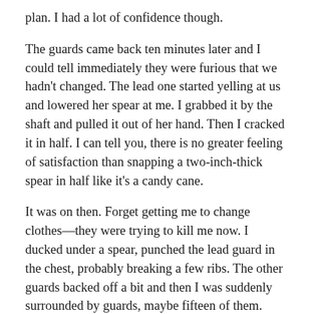plan. I had a lot of confidence though.
The guards came back ten minutes later and I could tell immediately they were furious that we hadn't changed. The lead one started yelling at us and lowered her spear at me. I grabbed it by the shaft and pulled it out of her hand. Then I cracked it in half. I can tell you, there is no greater feeling of satisfaction than snapping a two-inch-thick spear in half like it's a candy cane.
It was on then. Forget getting me to change clothes—they were trying to kill me now. I ducked under a spear, punched the lead guard in the chest, probably breaking a few ribs. The other guards backed off a bit and then I was suddenly surrounded by guards, maybe fifteen of them. However, I could tell that some of them were illusions. They all moved the same way, like puppets on the same